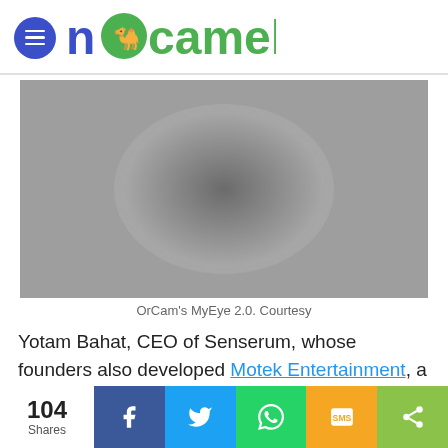nocamels
[Figure (photo): Blurred gray image representing OrCam's MyEye 2.0 device]
OrCam's MyEye 2.0. Courtesy
Yotam Bahat, CEO of Senserum, whose founders also developed Motek Entertainment, a startup specializing in 3D animation and performance capture, will speak in an
104 Shares — Share buttons: Facebook, Twitter, WhatsApp, SMS, More